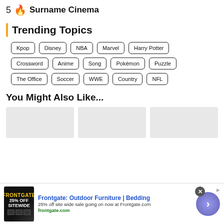5 🔥 Surname Cinema
Trending Topics
Kpop
Disney
NBA
Marvel
Harry Potter
Crossword
Anime
Song
Pokémon
Puzzle
The Office
Soccer
WWE
Country
NFL
You Might Also Like...
[Figure (other): Three gray placeholder thumbnail boxes]
[Figure (other): Advertisement banner: Frontgate Outdoor Furniture | Bedding — 25% off site wide sale going on now at Frontgate.com — frontgate.com]